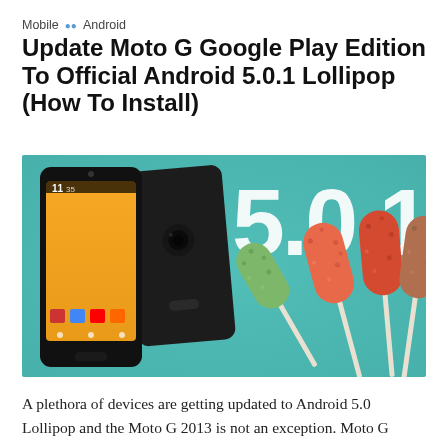Mobile · Android
Update Moto G Google Play Edition To Official Android 5.0.1 Lollipop (How To Install)
[Figure (photo): Promotional image showing two Moto G smartphones (front and back) alongside four lollipop candies on a teal background with large white '5.0.1' text]
A plethora of devices are getting updated to Android 5.0 Lollipop and the Moto G 2013 is not an exception. Moto G